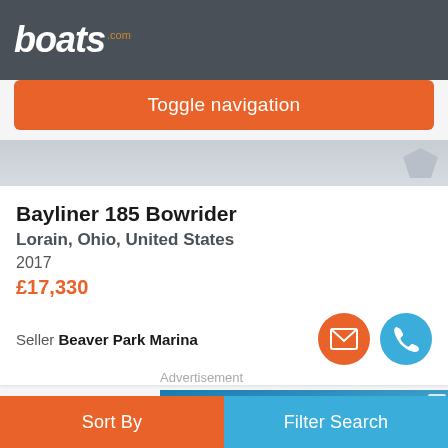boats.com
Toggle navigation
[Figure (screenshot): Partial boat image strip visible as background photo]
Bayliner 185 Bowrider
Lorain, Ohio, United States
2017
£17,330
Seller Beaver Park Marina
Advertisement
[Figure (photo): Advertisement image showing a sport fishing boat on blue water]
Sort By
Filter Search